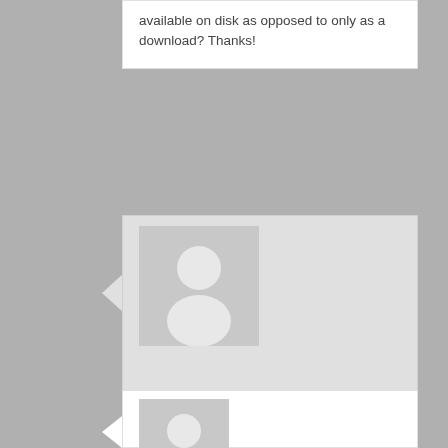available on disk as opposed to only as a download? Thanks!
[Figure (illustration): Generic user avatar placeholder image (grey silhouette person on grey background)]
Pinyin Info on Monday, March 14, 2011 at 11:51 am said:
I'm surprised that option isn't listed yet on Wenlin's site. You might try contacting the Wenlin Institute Store.
[Figure (illustration): Generic user avatar placeholder image (grey silhouette person on grey background)]